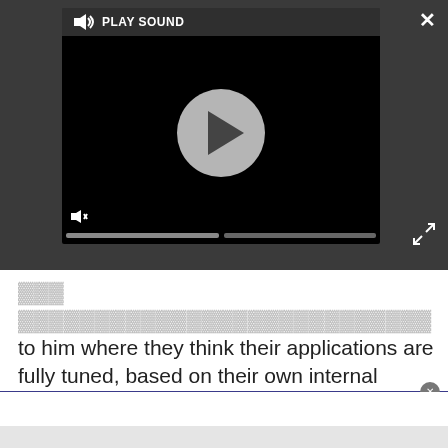[Figure (screenshot): Video player overlay on dark background with play sound bar at top, large play button circle in center, mute icon bottom left, and progress bar segments at bottom]
to him where they think their applications are fully tuned, based on their own internal processes, but after spending time with Itanium experts, realize they weren't fully optimized after all.
[Figure (screenshot): Advertisement placeholder box with light gray background]